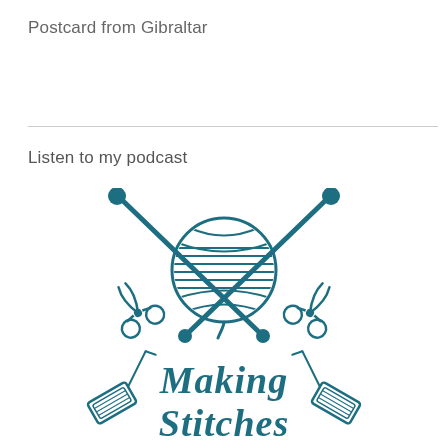Postcard from Gibraltar
Listen to my podcast
[Figure (logo): Making Stitches podcast logo featuring a ball of yarn with knitting needles crossed behind it, scissors on each side, two thread spools at the bottom corners, and the text 'Making Stitches' in teal script lettering.]